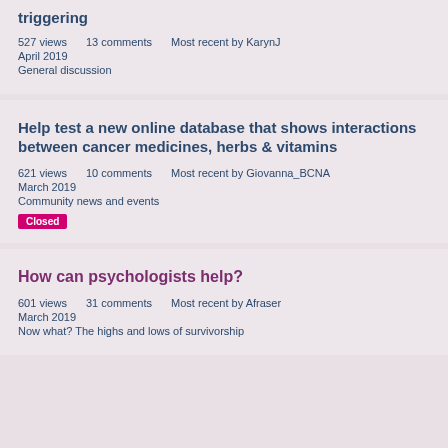triggering
527 views    13 comments    Most recent by KarynJ
April 2019
General discussion
Help test a new online database that shows interactions between cancer medicines, herbs & vitamins
621 views    10 comments    Most recent by Giovanna_BCNA
March 2019
Community news and events
Closed
How can psychologists help?
601 views    31 comments    Most recent by Afraser
March 2019
Now what? The highs and lows of survivorship